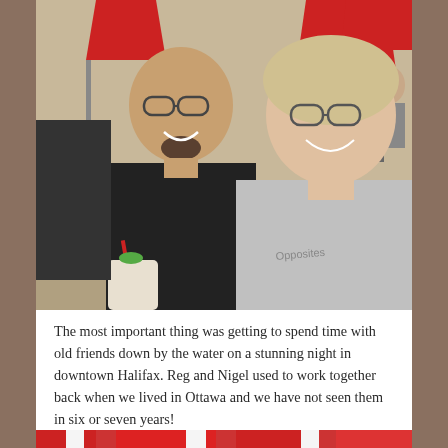[Figure (photo): Two people seated at an outdoor restaurant patio table. A man on the left wearing glasses and a black shirt with a goatee, smiling. A woman on the right wearing glasses and a grey t-shirt, also smiling. Red umbrellas and other diners visible in the background.]
The most important thing was getting to spend time with old friends down by the water on a stunning night in downtown Halifax. Reg and Nigel used to work together back when we lived in Ottawa and we have not seen them in six or seven years!
[Figure (photo): Partial view of red and white striped patio umbrellas at the bottom of the page.]